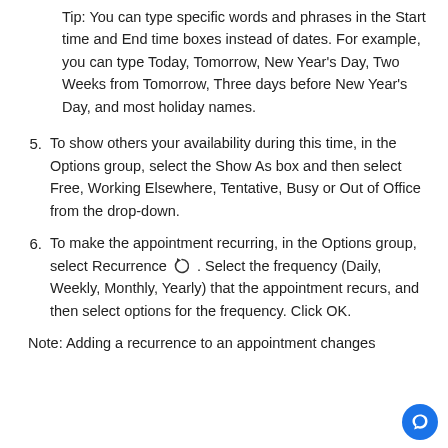Tip: You can type specific words and phrases in the Start time and End time boxes instead of dates. For example, you can type Today, Tomorrow, New Year’s Day, Two Weeks from Tomorrow, Three days before New Year’s Day, and most holiday names.
5. To show others your availability during this time, in the Options group, select the Show As box and then select Free, Working Elsewhere, Tentative, Busy or Out of Office from the drop-down.
6. To make the appointment recurring, in the Options group, select Recurrence [icon]. Select the frequency (Daily, Weekly, Monthly, Yearly) that the appointment recurs, and then select options for the frequency. Click OK.
Note: Adding a recurrence to an appointment changes